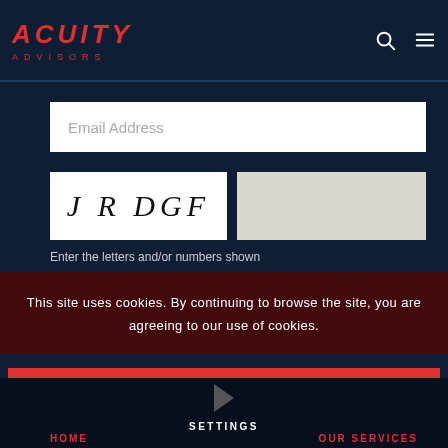[Figure (logo): Acuity Advisors logo in red italic text on dark navy background]
Email Address
[Figure (other): CAPTCHA image showing letters J R D G F in italic serif font]
Enter the letters and/or numbers shown
This site uses cookies. By continuing to browse the site, you are agreeing to our use of cookies.
ACCEPT SETTINGS
HIDE NOTIFICATION ONLY
SETTINGS
HOME
OUR SERVICES